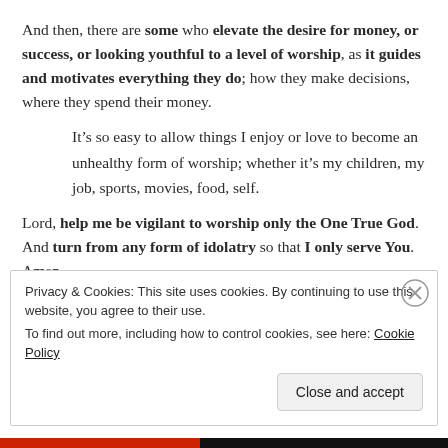And then, there are some who elevate the desire for money, or success, or looking youthful to a level of worship, as it guides and motivates everything they do; how they make decisions, where they spend their money.
It’s so easy to allow things I enjoy or love to become an unhealthy form of worship; whether it’s my children, my job, sports, movies, food, self.
Lord, help me be vigilant to worship only the One True God. And turn from any form of idolatry so that I only serve You. Amen
Privacy & Cookies: This site uses cookies. By continuing to use this website, you agree to their use. To find out more, including how to control cookies, see here: Cookie Policy